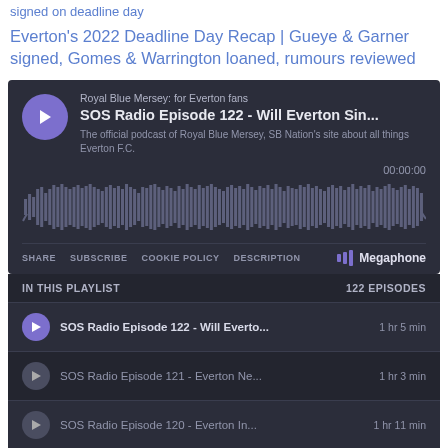signed on deadline day
Everton's 2022 Deadline Day Recap | Gueye & Garner signed, Gomes & Warrington loaned, rumours reviewed
[Figure (screenshot): Podcast player widget for Royal Blue Mersey: for Everton fans. Shows episode SOS Radio Episode 122 - Will Everton Sin... with waveform visualization, time 00:00:00, controls including SHARE, SUBSCRIBE, COOKIE POLICY, DESCRIPTION, Megaphone branding, playlist with 122 episodes, and episode list rows.]